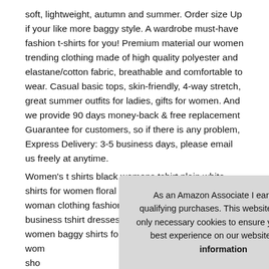soft, lightweight, autumn and summer. Order size Up if your like more baggy style. A wardrobe must-have fashion t-shirts for you! Premium material our women trending clothing made of high quality polyester and elastane/cotton fabric, breathable and comfortable to wear. Casual basic tops, skin-friendly, 4-way stretch, great summer outfits for ladies, gifts for women. And we provide 90 days money-back & free replacement Guarantee for customers, so if there is any problem, Express Delivery: 3-5 business days, please email us freely at anytime.
Women's t shirts black womens tshirt plain white shirts for women floral tops plus size crop tops sexy woman clothing fashion blouses for women trendy business tshirt dresses funny graphic tee shirts for women baggy shirts for women four... women... sho... tops...
As an Amazon Associate I earn from qualifying purchases. This website uses the only necessary cookies to ensure you get the best experience on our website. More information